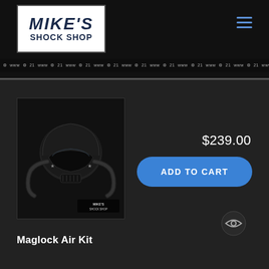[Figure (logo): Mike's Shock Shop logo — white box with dark blue bold italic text 'MIKE'S' on top and 'SHOCK SHOP' below]
[Figure (other): Hamburger menu icon (three horizontal blue lines) in top-right corner]
[Figure (other): Scrolling ticker strip with small repeating text along the top navigation bar bottom]
[Figure (photo): Black motorcycle/powersport helmet with visor and hose/ventilation tubes, 'MIKE'S SHOCK SHOP' watermark in bottom-right corner of image, dark background]
$239.00
ADD TO CART
Maglock Air Kit